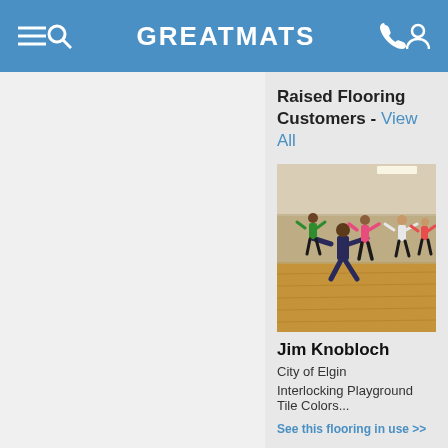GREATMATS
Raised Flooring Customers - View All
[Figure (photo): Fitness class with instructor and participants doing aerobic exercises on a wood-tone raised floor in a gym/studio setting]
Jim Knobloch
City of Elgin
Interlocking Playground Tile Colors...
See this flooring in use >>